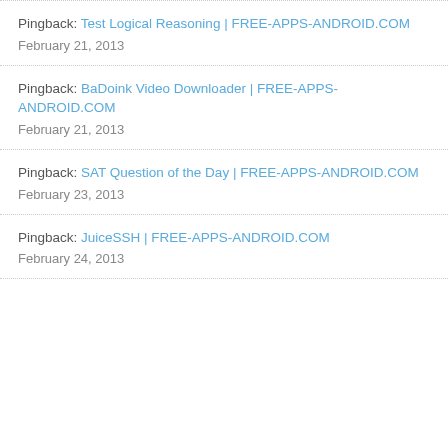Pingback: Test Logical Reasoning | FREE-APPS-ANDROID.COM
February 21, 2013
Pingback: BaDoink Video Downloader | FREE-APPS-ANDROID.COM
February 21, 2013
Pingback: SAT Question of the Day | FREE-APPS-ANDROID.COM
February 23, 2013
Pingback: JuiceSSH | FREE-APPS-ANDROID.COM
February 24, 2013